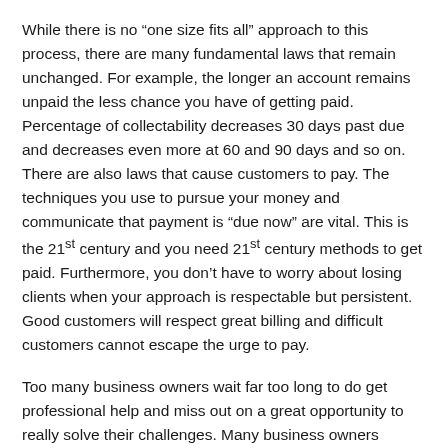While there is no “one size fits all” approach to this process, there are many fundamental laws that remain unchanged. For example, the longer an account remains unpaid the less chance you have of getting paid. Percentage of collectability decreases 30 days past due and decreases even more at 60 and 90 days and so on. There are also laws that cause customers to pay. The techniques you use to pursue your money and communicate that payment is “due now” are vital. This is the 21st century and you need 21st century methods to get paid. Furthermore, you don’t have to worry about losing clients when your approach is respectable but persistent. Good customers will respect great billing and difficult customers cannot escape the urge to pay.
Too many business owners wait far too long to do get professional help and miss out on a great opportunity to really solve their challenges. Many business owners cannot seem to get out of their own way and become stifled and complacent. Don’t keep guessing why people don’t pay, look internally and find the reason. This dilemma is so common that thousands and tens of millions of dollars are lost each year.
As I mentioned in my publication “Top 10 Billing Secrets”, over 25 billion